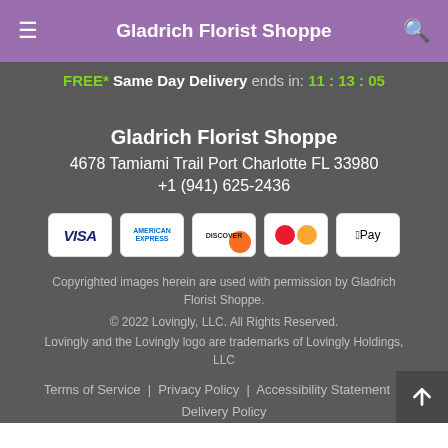Gladrich Florist Shoppe
FREE* Same Day Delivery ends in: 11:13:05
Gladrich Florist Shoppe
4678 Tamiami Trail Port Charlotte FL 33980
+1 (941) 625-2436
[Figure (other): Payment method logos: VISA, American Express, Discover, Mastercard, Apple Pay]
Copyrighted images herein are used with permission by Gladrich Florist Shoppe.
© 2022 Lovingly, LLC. All Rights Reserved.
Lovingly and the Lovingly logo are trademarks of Lovingly Holdings, LLC
Terms of Service | Privacy Policy | Accessibility Statement | Delivery Policy